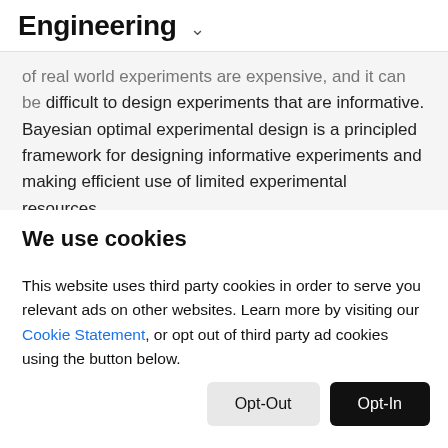Engineering ˅
of real world experiments are expensive, and it can be difficult to design experiments that are informative. Bayesian optimal experimental design is a principled framework for designing informative experiments and making efficient use of limited experimental resources.
We use cookies
This website uses third party cookies in order to serve you relevant ads on other websites. Learn more by visiting our Cookie Statement, or opt out of third party ad cookies using the button below.